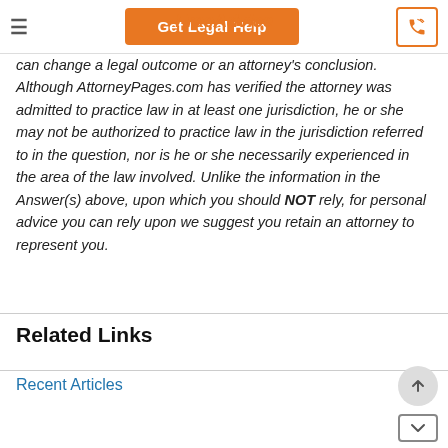Get Legal Help | FreeAdvice
can change a legal outcome or an attorney's conclusion. Although AttorneyPages.com has verified the attorney was admitted to practice law in at least one jurisdiction, he or she may not be authorized to practice law in the jurisdiction referred to in the question, nor is he or she necessarily experienced in the area of the law involved. Unlike the information in the Answer(s) above, upon which you should NOT rely, for personal advice you can rely upon we suggest you retain an attorney to represent you.
Related Links
Recent Articles